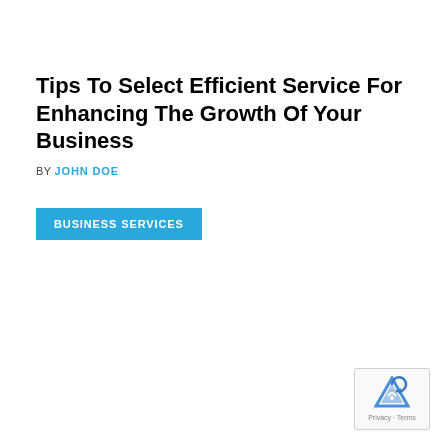Tips To Select Efficient Service For Enhancing The Growth Of Your Business
BY JOHN DOE
BUSINESS SERVICES
[Figure (other): reCAPTCHA badge with Privacy and Terms links]